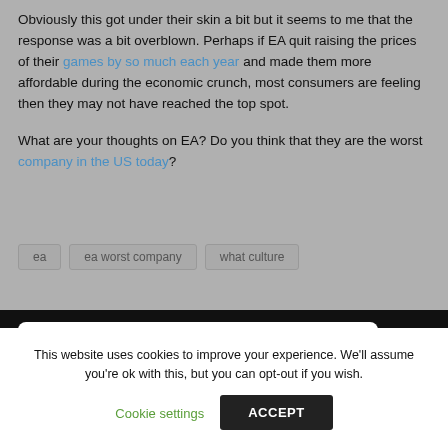Obviously this got under their skin a bit but it seems to me that the response was a bit overblown. Perhaps if EA quit raising the prices of their games by so much each year and made them more affordable during the economic crunch, most consumers are feeling then they may not have reached the top spot.
What are your thoughts on EA? Do you think that they are the worst company in the US today?
ea
ea worst company
what culture
‹ New Online SWTOR Encounter Analyzer/ Log Parser
This website uses cookies to improve your experience. We'll assume you're ok with this, but you can opt-out if you wish.
Cookie settings
ACCEPT